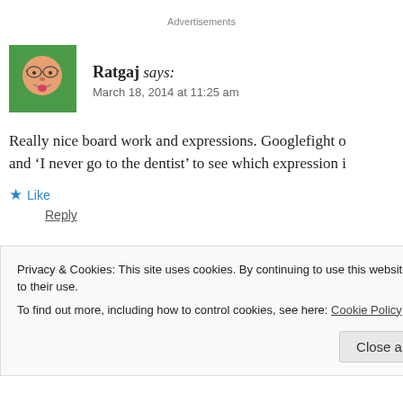Advertisements
[Figure (illustration): Cartoon avatar of user Ratgaj — round face with glasses and tongue out, green background]
Ratgaj says:
March 18, 2014 at 11:25 am
Really nice board work and expressions. Googlefight o and ‘I never go to the dentist’ to see which expression i
★ Like
Reply
Privacy & Cookies: This site uses cookies. By continuing to use this website, you agree to their use.
To find out more, including how to control cookies, see here: Cookie Policy
Close and accept